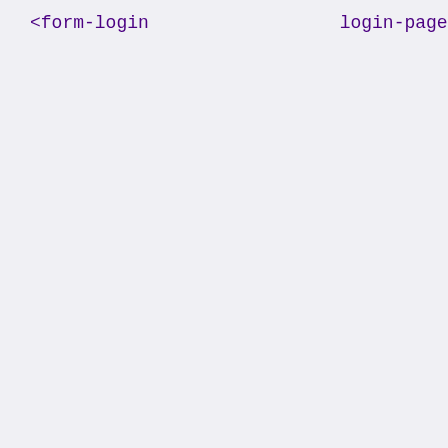[Figure (screenshot): XML/Spring Security configuration code snippet showing form-login, logout, access-denied-handler, http closing tag, and beans:bean elements with syntax highlighting]